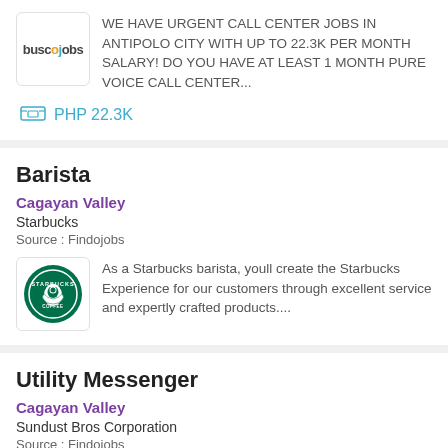[Figure (logo): Buscojobs logo]
WE HAVE URGENT CALL CENTER JOBS IN ANTIPOLO CITY WITH UP TO 22.3K PER MONTH SALARY! DO YOU HAVE AT LEAST 1 MONTH PURE VOICE CALL CENTER...
PHP 22.3K
Barista
Cagayan Valley
Starbucks
Source : Findojobs
[Figure (logo): Starbucks logo]
As a Starbucks barista, youll create the Starbucks Experience for our customers through excellent service and expertly crafted products....
Utility Messenger
Cagayan Valley
Sundust Bros Corporation
Source : Findojobs